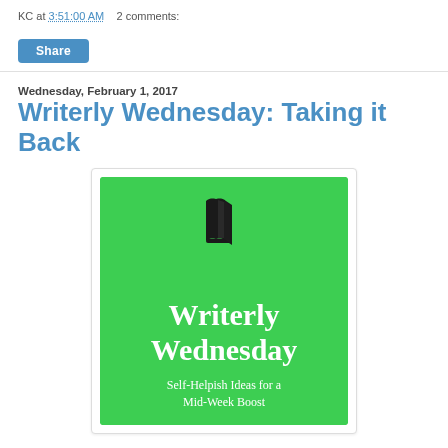KC at 3:51:00 AM    2 comments:
Share
Wednesday, February 1, 2017
Writerly Wednesday: Taking it Back
[Figure (illustration): Green square graphic with a book icon at the top center, large white serif text reading 'Writerly Wednesday', and smaller white text below reading 'Self-Helpish Ideas for a Mid-Week Boost']